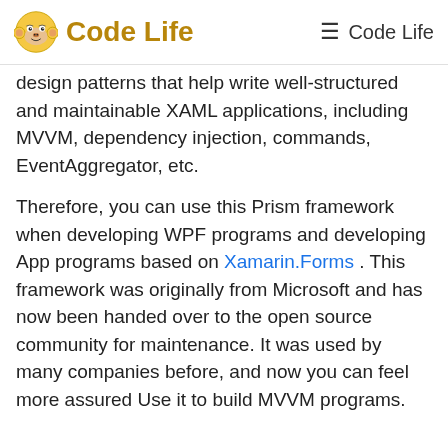Code Life
design patterns that help write well-structured and maintainable XAML applications, including MVVM, dependency injection, commands, EventAggregator, etc.
Therefore, you can use this Prism framework when developing WPF programs and developing App programs based on Xamarin.Forms . This framework was originally from Microsoft and has now been handed over to the open source community for maintenance. It was used by many companies before, and now you can feel more assured Use it to build MVVM programs.